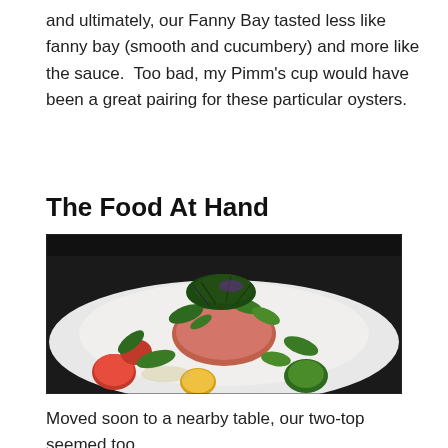and ultimately, our Fanny Bay tasted less like fanny bay (smooth and cucumbery) and more like the sauce.  Too bad, my Pimm's cup would have been a great pairing for these particular oysters.
The Food At Hand
[Figure (photo): A plated dish on a white plate featuring colorful heirloom tomatoes topped with fresh herb greens and micro greens, arranged artfully.]
Moved soon to a nearby table, our two-top seemed too